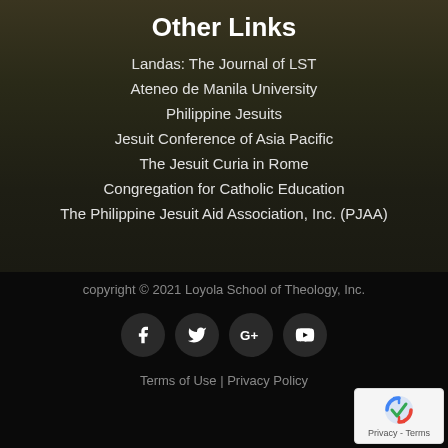Other Links
Landas: The Journal of LST
Ateneo de Manila University
Philippine Jesuits
Jesuit Conference of Asia Pacific
The Jesuit Curia in Rome
Congregation for Catholic Education
The Philippine Jesuit Aid Association, Inc. (PJAA)
copyright © 2021 Loyola School of Theology, Inc.
[Figure (infographic): Social media icons: Facebook, Twitter, Google+, YouTube]
Terms of Use  |  Privacy Policy
[Figure (logo): reCAPTCHA badge with Privacy - Terms text]